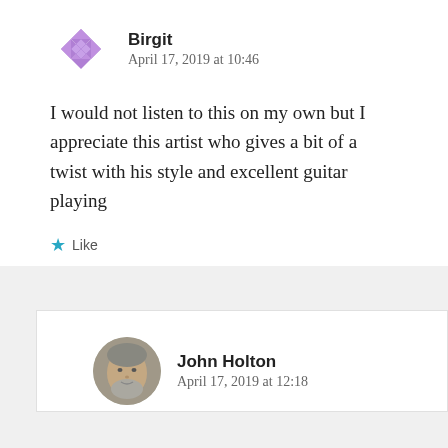[Figure (illustration): Purple geometric/quilt-pattern avatar icon for user Birgit]
Birgit
April 17, 2019 at 10:46
I would not listen to this on my own but I appreciate this artist who gives a bit of a twist with his style and excellent guitar playing
★ Like
[Figure (photo): Circular profile photo of John Holton, an older man with grey hair and beard]
John Holton
April 17, 2019 at 12:18